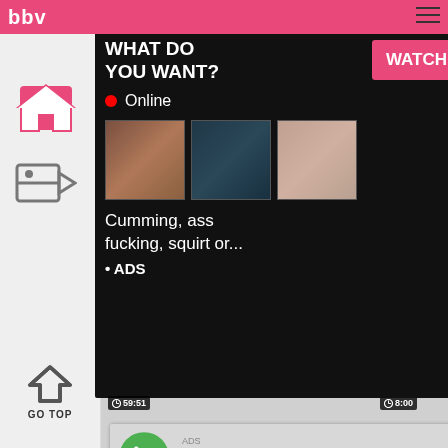bbv
[Figure (screenshot): Adult video website screenshot with overlay ads. Top pink navigation bar with 'bbv' logo and hamburger menu. Left sidebar with home and tag icons and 'GO TOP' button. Main content shows video thumbnails with timers (59:51, 8:00, 6:40, 10:40). Dark popup ad overlay showing 'WHAT DO YOU WANT?' with pink WATCH button, red Online indicator, three thumbnail images, and text 'Cumming, ass fucking, squirt or...' with '• ADS'. Below that, a fake phone notification ad: '(1)Missed Call from Eliza - pleeease call me back.. I miss you!' with audio player controls showing times 0:00 and 3:23 and playback buttons. Bottom section shows video thumbnails with titles 'Old English Teacher...' (86% rating) and 'While Mom Is Not At Home' (70% rating).]
WHAT DO YOU WANT?
Online
Cumming, ass fucking, squirt or...
• ADS
ADS
(1)Missed Call from Eliza
pleeease call me back.. I miss you!
0:00
3:23
GO TOP
Old English Teacher...
86%
While Mom Is Not At Home
70%